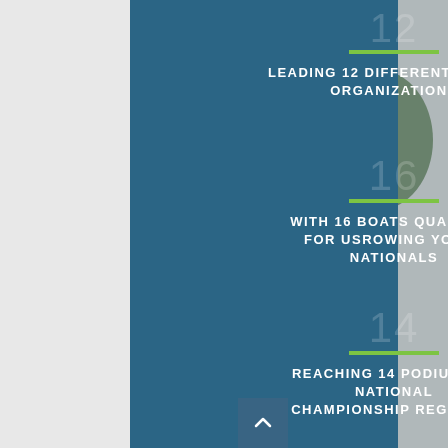12
LEADING 12 DIFFERENT ROWING ORGANIZATIONS
16
WITH 16 BOATS QUALIFIED FOR USROWING YOUTH NATIONALS
14
REACHING 14 PODIUMS AT NATIONAL CHAMPIONSHIP REGATTAS
[Figure (photo): Background photo of a young male athlete standing outdoors near a palm tree, holding a green rowing oar. Black and white/muted color treatment.]